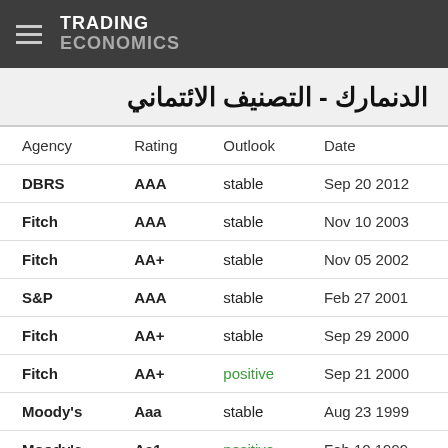TRADING ECONOMICS
الدنمارك - التصنيف الائتماني
| Agency | Rating | Outlook | Date |
| --- | --- | --- | --- |
| DBRS | AAA | stable | Sep 20 2012 |
| Fitch | AAA | stable | Nov 10 2003 |
| Fitch | AA+ | stable | Nov 05 2002 |
| S&P | AAA | stable | Feb 27 2001 |
| Fitch | AA+ | stable | Sep 29 2000 |
| Fitch | AA+ | positive | Sep 21 2000 |
| Moody's | Aaa | stable | Aug 23 1999 |
| Moody's | Aa1 | positive | Feb 10 1999 |